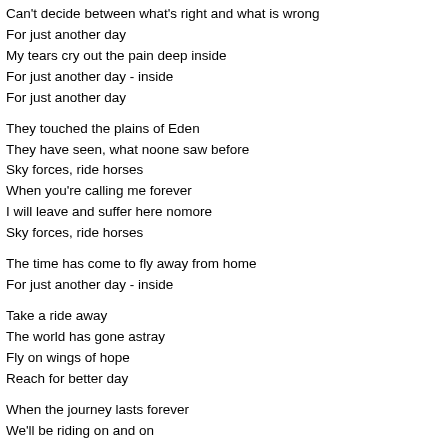Can't decide between what's right and what is wrong
For just another day
My tears cry out the pain deep inside
For just another day - inside
For just another day
They touched the plains of Eden
They have seen, what noone saw before
Sky forces, ride horses
When you're calling me forever
I will leave and suffer here nomore
Sky forces, ride horses
The time has come to fly away from home
For just another day - inside
Take a ride away
The world has gone astray
Fly on wings of hope
Reach for better day
When the journey lasts forever
We'll be riding on and on